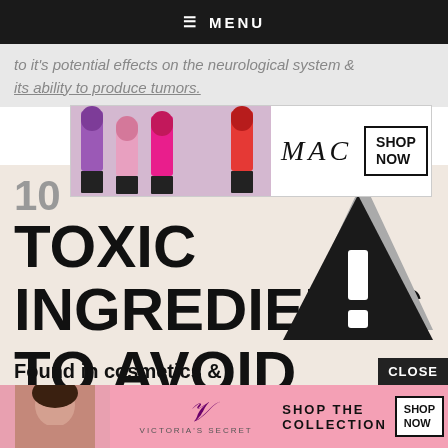MENU
to it’s potential effects on the neurological system & its ability to produce tumors.
[Figure (photo): MAC cosmetics advertisement showing lipsticks in purple, pink and red with MAC logo and SHOP NOW button]
10 TOXIC INGREDIENTS TO AVOID
Found in cosmetics & personal care items!
[Figure (illustration): Black warning/hazard triangle with exclamation mark symbol]
[Figure (photo): Victoria's Secret advertisement showing model with SHOP THE COLLECTION and SHOP NOW button]